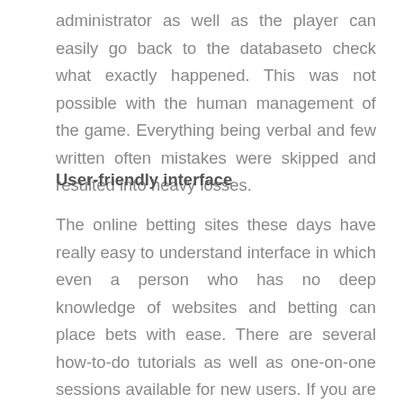administrator as well as the player can easily go back to the databaseto check what exactly happened. This was not possible with the human management of the game. Everything being verbal and few written often mistakes were skipped and resulted into heavy losses.
User-friendly interface
The online betting sites these days have really easy to understand interface in which even a person who has no deep knowledge of websites and betting can place bets with ease. There are several how-to-do tutorials as well as one-on-one sessions available for new users. If you are an experienced user then there are various customizations on the websites to suits your needs